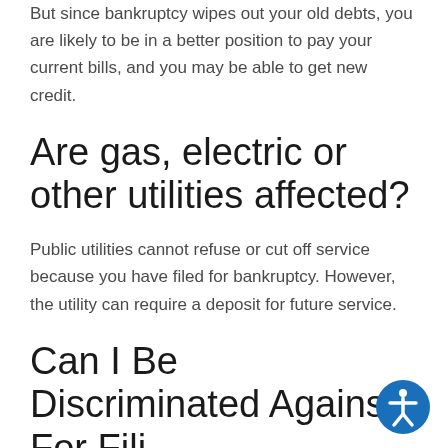But since bankruptcy wipes out your old debts, you are likely to be in a better position to pay your current bills, and you may be able to get new credit.
Are gas, electric or other utilities affected?
Public utilities cannot refuse or cut off service because you have filed for bankruptcy. However, the utility can require a deposit for future service.
Can I Be Discriminated Against For Filing...